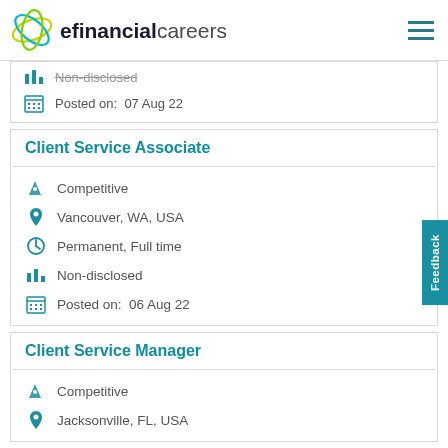efinancialcareers
Non-disclosed
Posted on: 07 Aug 22
Client Service Associate
Competitive
Vancouver, WA, USA
Permanent, Full time
Non-disclosed
Posted on: 06 Aug 22
Client Service Manager
Competitive
Jacksonville, FL, USA